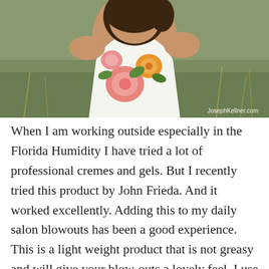[Figure (photo): A woman wearing a white floral halter dress with orange and pink flowers, photographed outdoors in a grassy field. Watermark reads 'JosephKellner.com' in bottom right corner.]
When I am working outside especially in the Florida Humidity I have tried a lot of professional cremes and gels. But I recently tried this product by John Frieda. And it worked excellently. Adding this to my daily salon blowouts has been a good experience. This is a light weight product that is not greasy and will give your blow-outs a lovely feel. I use this with naturally curly hair and I have no problem with straightening the hair. And I don't need to add any other agents to help with the finish. For medium to long length hair I will use a quarter amount to the mid shaft and ends.